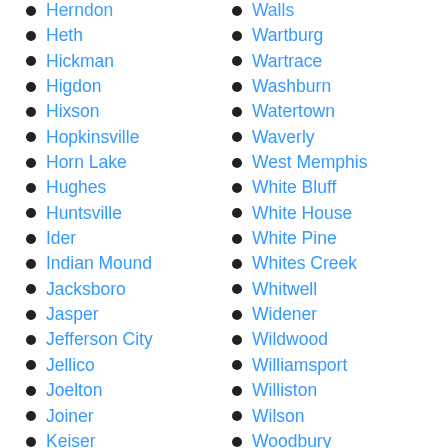Herndon
Heth
Hickman
Higdon
Hixson
Hopkinsville
Horn Lake
Hughes
Huntsville
Ider
Indian Mound
Jacksboro
Jasper
Jefferson City
Jellico
Joelton
Joiner
Keiser
Kingston
Walls
Wartburg
Wartrace
Washburn
Watertown
Waverly
West Memphis
White Bluff
White House
White Pine
Whites Creek
Whitwell
Widener
Wildwood
Williamsport
Williston
Wilson
Woodbury
Woodlawn